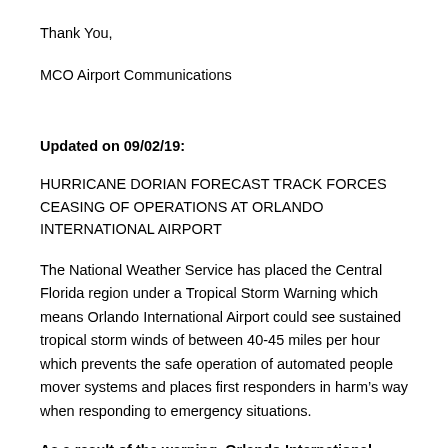Thank You,
MCO Airport Communications
Updated on 09/02/19:
HURRICANE DORIAN FORECAST TRACK FORCES CEASING OF OPERATIONS AT ORLANDO INTERNATIONAL AIRPORT
The National Weather Service has placed the Central Florida region under a Tropical Storm Warning which means Orlando International Airport could see sustained tropical storm winds of between 40-45 miles per hour which prevents the safe operation of automated people mover systems and places first responders in harm’s way when responding to emergency situations.
As a result of the warning, Orlando International